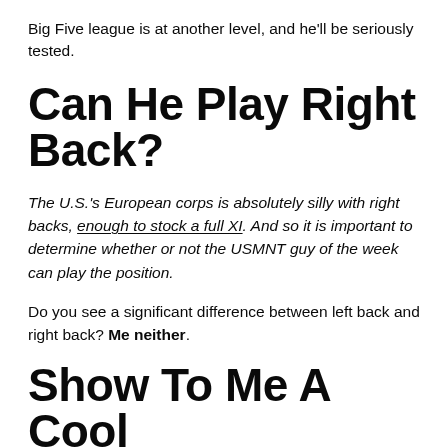Big Five league is at another level, and he'll be seriously tested.
Can He Play Right Back?
The U.S.'s European corps is absolutely silly with right backs, enough to stock a full XI. And so it is important to determine whether or not the USMNT guy of the week can play the position.
Do you see a significant difference between left back and right back? Me neither.
Show To Me A Cool